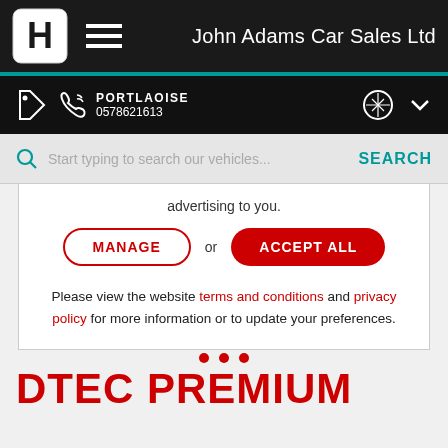John Adams Car Sales Ltd
PORTLAOISE
0578621613
Start typing to search our vehicles...   SEARCH
advertising to you.
MANAGE or ACCEPT ALL
Please view the website terms and conditions and privacy policy for more information or to update your preferences.
DTEC PREMIUM